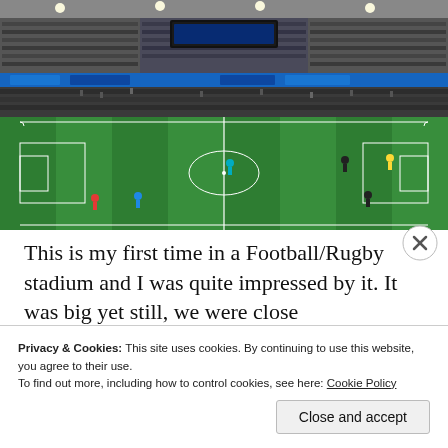[Figure (photo): A football/rugby stadium at night with floodlights illuminating a green pitch. Players are scattered across the field during what appears to be a warm-up or match. The stands with blue and black seating are visible in the background along with advertising boards.]
This is my first time in a Football/Rugby stadium and I was quite impressed by it. It was big yet still, we were close
Privacy & Cookies: This site uses cookies. By continuing to use this website, you agree to their use.
To find out more, including how to control cookies, see here: Cookie Policy